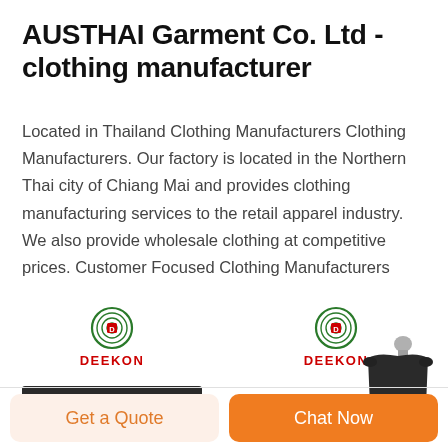AUSTHAI Garment Co. Ltd - clothing manufacturer
Located in Thailand Clothing Manufacturers Clothing Manufacturers. Our factory is located in the Northern Thai city of Chiang Mai and provides clothing manufacturing services to the retail apparel industry. We also provide wholesale clothing at competitive prices. Customer Focused Clothing Manufacturers
[Figure (photo): Two product images side by side showing DEEKON brand labels. Left image: DEEKON logo with concentric circles and a dark fabric strap/belt. Right image: DEEKON logo with concentric circles and a dark mannequin torso display form.]
Get a Quote
Chat Now